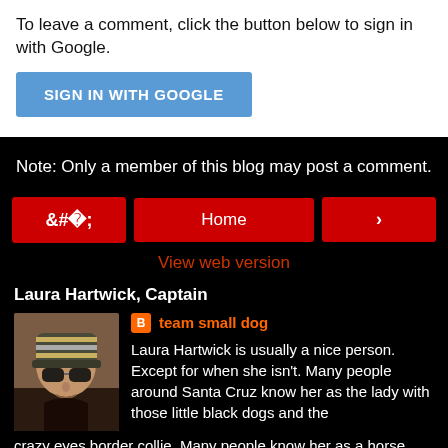To leave a comment, click the button below to sign in with Google.
[Figure (other): Sign in with Google button (blue)]
Note: Only a member of this blog may post a comment.
[Figure (other): Navigation bar with left arrow, Home button, and right arrow]
View web version
Laura Hartwick, Captain
[Figure (photo): Portrait photo of Laura Hartwick wearing sunglasses and a striped beanie hat]
team small dog
Laura Hartwick is usually a nice person. Except for when she isn't. Many people around Santa Cruz know her as the lady with those little black dogs and the crazy eyes border collie. Many people know her as a horse trainer. Many people know her as the illustrator with the small brushes and